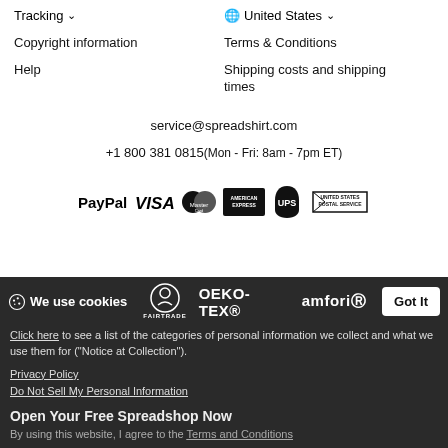Tracking
🌐 United States
Copyright information
Terms & Conditions
Help
Shipping costs and shipping times
service@spreadshirt.com
+1 800 381 0815(Mon - Fri: 8am - 7pm ET)
[Figure (logo): Payment method logos: PayPal, VISA, MasterCard, American Express, UPS, United States Postal Service]
[Figure (logo): Certification logos: Fairtrade, OEKO-TEX, amfori]
We use cookies
Got It
Click here to see a list of the categories of personal information we collect and what we use them for ("Notice at Collection").
Privacy Policy
Do Not Sell My Personal Information
Open Your Free Spreadshop Now
By using this website, I agree to the Terms and Conditions